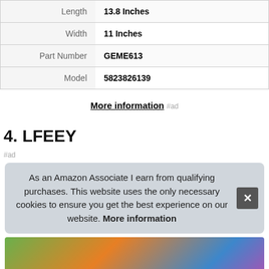| Attribute | Value |
| --- | --- |
| Length | 13.8 Inches |
| Width | 11 Inches |
| Part Number | GEME613 |
| Model | 5823826139 |
More information #ad
4. LFEEY
#ad
As an Amazon Associate I earn from qualifying purchases. This website uses the only necessary cookies to ensure you get the best experience on our website. More information